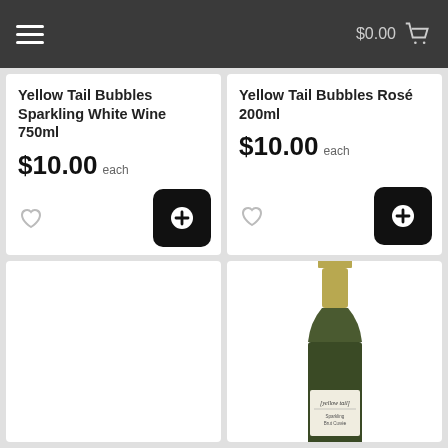$0.00
Yellow Tail Bubbles Sparkling White Wine 750ml
$10.00 each
Yellow Tail Bubbles Rosé 200ml
$10.00 each
[Figure (photo): Yellow tail sparkling wine bottle, small 200ml size with gold foil top and black label]